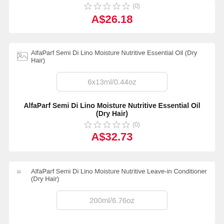★★★★★ (0)
A$26.18
[Figure (other): Broken image icon for AlfaParf Semi Di Lino Moisture Nutritive Essential Oil (Dry Hair)]
6x13ml/0.44oz
AlfaParf Semi Di Lino Moisture Nutritive Essential Oil (Dry Hair)
★★★★★ (0)
A$32.73
[Figure (other): Broken image icon for AlfaParf Semi Di Lino Moisture Nutritive Leave-in Conditioner (Dry Hair)]
AlfaParf Semi Di Lino Moisture Nutritive Leave-in Conditioner (Dry Hair)
200ml/6.76oz